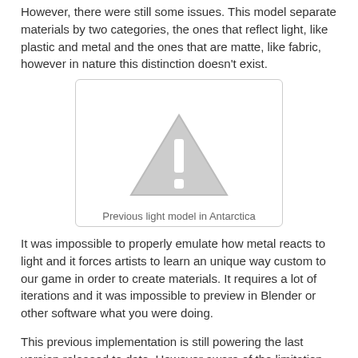However, there were still some issues. This model separate materials by two categories, the ones that reflect light, like plastic and metal and the ones that are matte, like fabric, however in nature this distinction doesn't exist.
[Figure (illustration): Placeholder image with warning triangle icon and caption 'Previous light model in Antarctica']
Previous light model in Antarctica
It was impossible to properly emulate how metal reacts to light and it forces artists to learn an unique way custom to our game in order to create materials. It requires a lot of iterations and it was impossible to preview in Blender or other software what you were doing.
This previous implementation is still powering the last version released to date. However aware of the limitation we went back to the drawing board and started to plan improving our rendering technology.